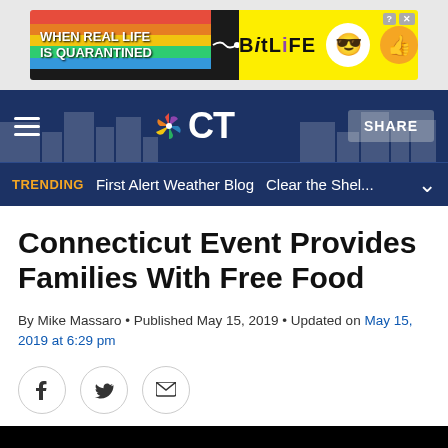[Figure (screenshot): Advertisement banner for BitLife mobile game with rainbow gradient and yellow background]
NBC CT navigation bar with hamburger menu, NBC CT logo, and SHARE button
TRENDING  First Alert Weather Blog  Clear the Shel...
Connecticut Event Provides Families With Free Food
By Mike Massaro • Published May 15, 2019 • Updated on May 15, 2019 at 6:29 pm
[Figure (screenshot): Social sharing icons: Facebook, Twitter, Email]
[Figure (screenshot): Black video player placeholder]